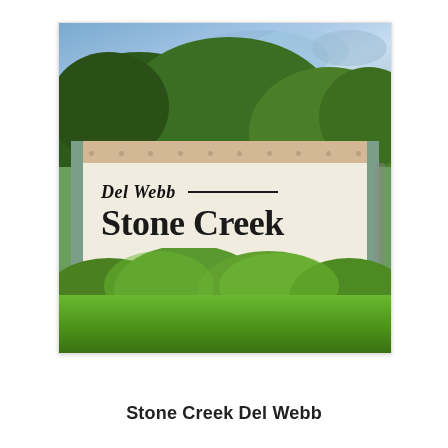[Figure (photo): Outdoor entrance sign for Del Webb Stone Creek community. The white stone sign displays 'Del Webb' in cursive script at the top with a horizontal line, and 'Stone Creek' in large bold serif font below. The sign has a tan/beige cap at the top with decorative lighting dots. Green hedges and bushes are in front of the sign, tall trees are in the background, and a partly cloudy blue sky is visible. Green grass lawn in the foreground.]
Stone Creek Del Webb